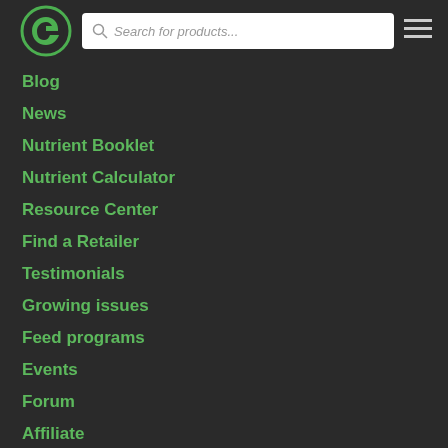[Figure (logo): Green circular logo with G letter inside, dark green design]
Search for products...
Blog
News
Nutrient Booklet
Nutrient Calculator
Resource Center
Find a Retailer
Testimonials
Growing issues
Feed programs
Events
Forum
Affiliate